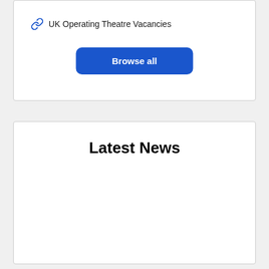UK Operating Theatre Vacancies
Browse all
Latest News